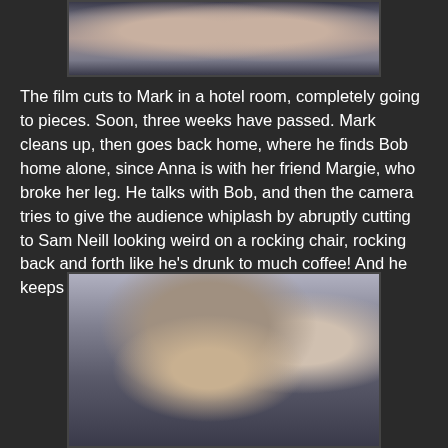[Figure (photo): A photo showing two people (torsos/shoulders visible) appearing to be from a film scene, dark background]
The film cuts to Mark in a hotel room, completely going to pieces. Soon, three weeks have passed. Mark cleans up, then goes back home, where he finds Bob home alone, since Anna is with her friend Margie, who broke her leg. He talks with Bob, and then the camera tries to give the audience whiplash by abruptly cutting to Sam Neill looking weird on a rocking chair, rocking back and forth like he's drunk to much coffee! And he keeps doing it while talking to Anna!
[Figure (photo): A photo of a bearded man with dark wet hair and wide eyes, wearing a blue jacket, with a woman visible in the background in a doorway]